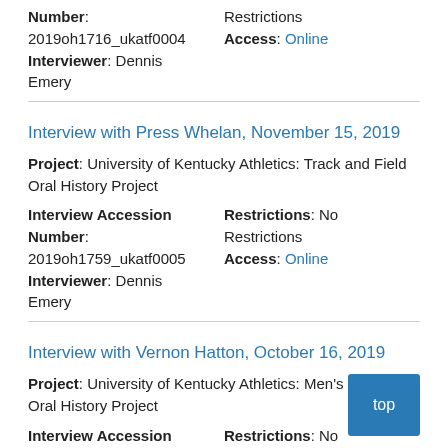Number: 2019oh1716_ukatf0004 Interviewer: Dennis Emery
Restrictions Access: Online
Interview with Press Whelan, November 15, 2019
Project: University of Kentucky Athletics: Track and Field Oral History Project
Interview Accession Number: 2019oh1759_ukatf0005 Interviewer: Dennis Emery
Restrictions: No Restrictions Access: Online
Interview with Vernon Hatton, October 16, 2019
Project: University of Kentucky Athletics: Men's Basketball Oral History Project
Interview Accession Number: 2020oh0087_ukabskm0015
Restrictions: No Restrictions Access: Online